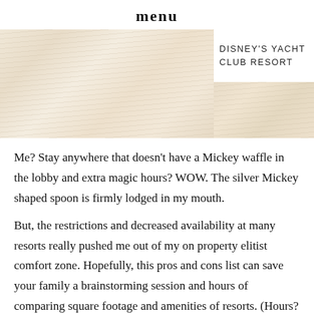menu
[Figure (photo): Fabric or draped textile in cream/beige tones with soft pleats and shadows, split into two image blocks with text overlay showing 'DISNEY'S YACHT CLUB RESORT']
Me? Stay anywhere that doesn't have a Mickey waffle in the lobby and extra magic hours? WOW. The silver Mickey shaped spoon is firmly lodged in my mouth.
But, the restrictions and decreased availability at many resorts really pushed me out of my on property elitist comfort zone. Hopefully, this pros and cons list can save your family a brainstorming session and hours of comparing square footage and amenities of resorts. (Hours? 😆 ok ok I'll admit- I may